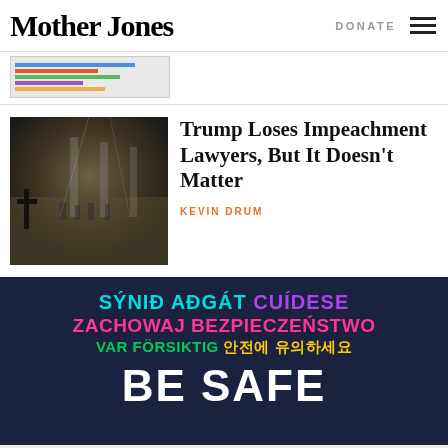Mother Jones
[Figure (screenshot): Partial view of a horizontal bar chart, cropped at top]
[Figure (photo): Interior of a large ornate building (US Capitol rotunda) with people and a cross silhouette in foreground]
Trump Loses Impeachment Lawyers, But It Doesn't Matter
KEVIN DRUM
[Figure (infographic): Dark navy background ad banner with multilingual text: SÝNIĐ AĐGÁT CUÍDESE / ZACHOWAJ BEZPIECZEŃSTWO / VAR FÖRSIKTIG 안전에 유의하세요 / BE SAFE]